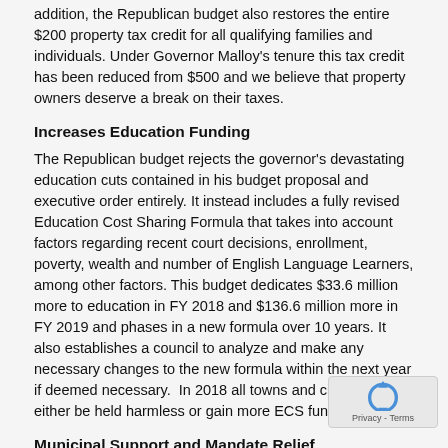addition, the Republican budget also restores the entire $200 property tax credit for all qualifying families and individuals. Under Governor Malloy's tenure this tax credit has been reduced from $500 and we believe that property owners deserve a break on their taxes.
Increases Education Funding
The Republican budget rejects the governor's devastating education cuts contained in his budget proposal and executive order entirely. It instead includes a fully revised Education Cost Sharing Formula that takes into account factors regarding recent court decisions, enrollment, poverty, wealth and number of English Language Learners, among other factors. This budget dedicates $33.6 million more to education in FY 2018 and $136.6 million more in FY 2019 and phases in a new formula over 10 years. It also establishes a council to analyze and make any necessary changes to the new formula within the next year if deemed necessary.  In 2018 all towns and cities will either be held harmless or gain more ECS funding.
Municipal Support and Mandate Relief
This budget provides predictable municipal aid so that towns and cities know what they can count on from the state. This plan